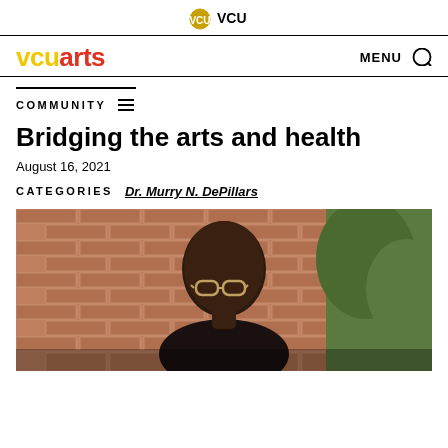VCU
vcuarts  MENU
COMMUNITY
Bridging the arts and health
August 16, 2021
CATEGORIES  Dr. Murry N. DePillars
[Figure (photo): Portrait of a man wearing glasses in front of a brick wall with green foliage visible]